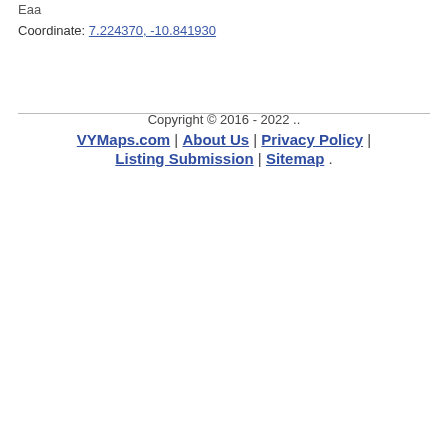Coordinate: 7.224370, -10.841930
Copyright © 2016 - 2022 .. VYMaps.com | About Us | Privacy Policy | Listing Submission | Sitemap .